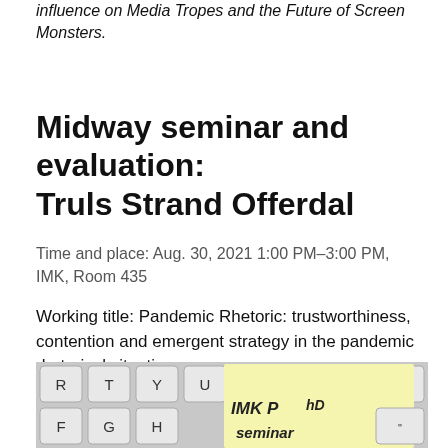influence on Media Tropes and the Future of Screen Monsters.
Midway seminar and evaluation: Truls Strand Offerdal
Time and place: Aug. 30, 2021 1:00 PM–3:00 PM, IMK, Room 435
Working title: Pandemic Rhetoric: trustworthiness, contention and emergent strategy in the pandemic rhetorical situation
[Figure (photo): Photo of a keyboard with a yellow sticky note reading 'IMK PhD seminar']